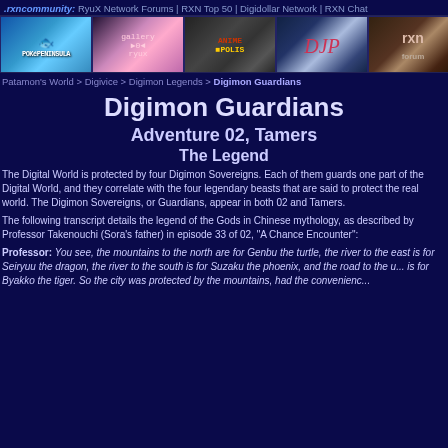.rxncommunity: RyuX Network Forums | RXN Top 50 | Digidollar Network | RXN Chat
[Figure (illustration): Navigation banner images: PokéPeninsula (blue water/ocean themed), Gallery RyuX (pink anime girl), AnimeOpolis (dark themed anime), DJP (blue with cursive DJP text), RXN Forums (brown/tan themed anime face)]
Patamon's World > Digivice > Digimon Legends > Digimon Guardians
Digimon Guardians
Adventure 02, Tamers
The Legend
The Digital World is protected by four Digimon Sovereigns. Each of them guards one part of the Digital World, and they correlate with the four legendary beasts that are said to protect the real world. The Digimon Sovereigns, or Guardians, appear in both 02 and Tamers.
The following transcript details the legend of the Gods in Chinese mythology, as described by Professor Takenouchi (Sora's father) in episode 33 of 02, "A Chance Encounter":
Professor: You see, the mountains to the north are for Genbu the turtle, the river to the east is for Seiryuu the dragon, the river to the south is for Suzaku the phoenix, and the road to the u... is for Byakko the tiger. So the city was protected by the mountains, had the convenienc...